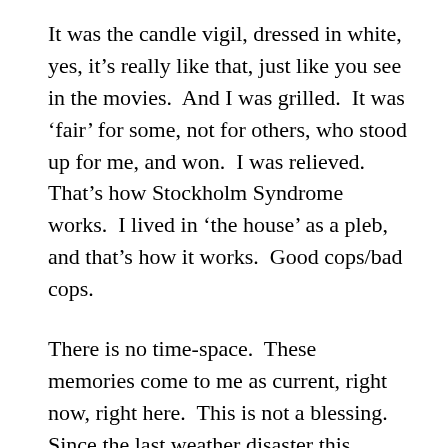It was the candle vigil, dressed in white, yes, it’s really like that, just like you see in the movies.  And I was grilled.  It was ‘fair’ for some, not for others, who stood up for me, and won.  I was relieved.  That’s how Stockholm Syndrome works.  I lived in ‘the house’ as a pleb, and that’s how it works.  Good cops/bad cops.
There is no time-space.  These memories come to me as current, right now, right here.  This is not a blessing. Since the last weather disaster this spring, these memories just come, beyond my reasoning or control.
Just maybe, it’s some sort of karma.  And I’m